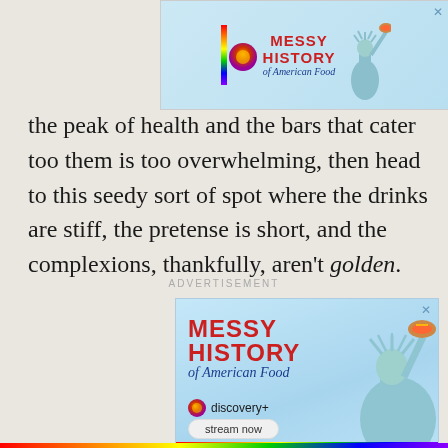[Figure (screenshot): Top advertisement banner for 'Messy History of American Food' on Discovery+, with colorful logo, Statue of Liberty, and hotdog image]
the peak of health and the bars that cater too them is too overwhelming, then head to this seedy sort of spot where the drinks are stiff, the pretense is short, and the complexions, thankfully, aren't golden.
ADVERTISEMENT
[Figure (screenshot): Advertisement for 'Messy History of American Food' on Discovery+ with Statue of Liberty holding a hotdog, red bold text, discovery+ logo, and 'stream now' button. Rainbow bar at bottom.]